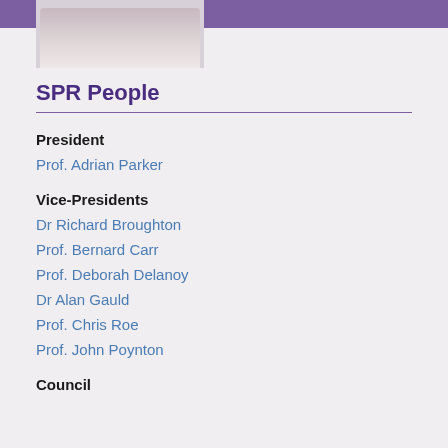[Figure (photo): Partial photograph of a person, cropped at top of page]
SPR People
President
Prof. Adrian Parker
Vice-Presidents
Dr Richard Broughton
Prof. Bernard Carr
Prof. Deborah Delanoy
Dr Alan Gauld
Prof. Chris Roe
Prof. John Poynton
Council